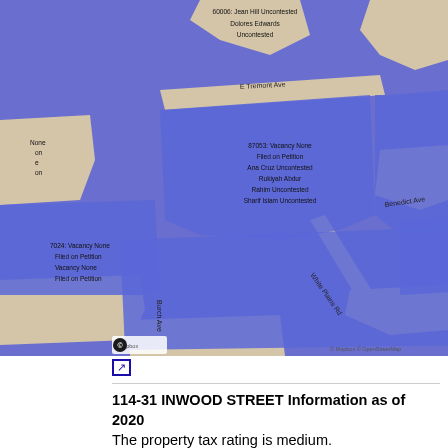[Figure (map): Street map showing election districts in the Bronx, NY area including Unionport neighborhood. Districts labeled with numbers and candidate names including Jean Hill, Dolores Edwards, Stephen (partially visible), Ana Cruz, Rukiyah Abdur Rahim, Sharif Islam, Paula Fields, Eva Velez, and others. Districts 87053, 82029, 87064, 85028, 87077 visible. Streets include E Tremont Ave, Benedict Ave, Castle Hill Ave, Hawthorn Ave, White Plains Rd, Watson Ave, Blackrock Ave. Map uses blue for districts and beige/tan for streets/unincorporated areas.]
External link icon
114-31 INWOOD STREET Information as of 2020
The property tax rating is medium.
The Building Class is A5 ONE FAMILY